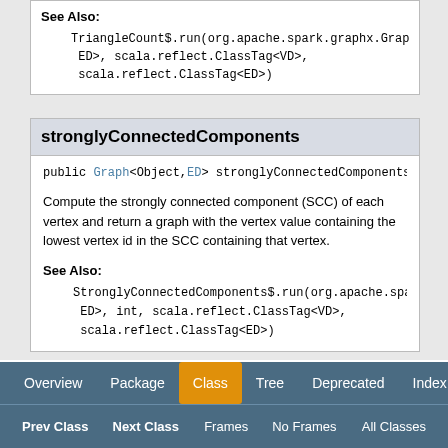See Also: TriangleCount$.run(org.apache.spark.graphx.Graph<VD, ED>, scala.reflect.ClassTag<VD>, scala.reflect.ClassTag<ED>)
stronglyConnectedComponents
public Graph<Object,ED> stronglyConnectedComponents(i
Compute the strongly connected component (SCC) of each vertex and return a graph with the vertex value containing the lowest vertex id in the SCC containing that vertex.
See Also:
StronglyConnectedComponents$.run(org.apache.spark.graph ED>, int, scala.reflect.ClassTag<VD>, scala.reflect.ClassTag<ED>)
Overview  Package  Class  Tree  Deprecated  Index  Help
Prev Class  Next Class    Frames  No Frames    All Classes